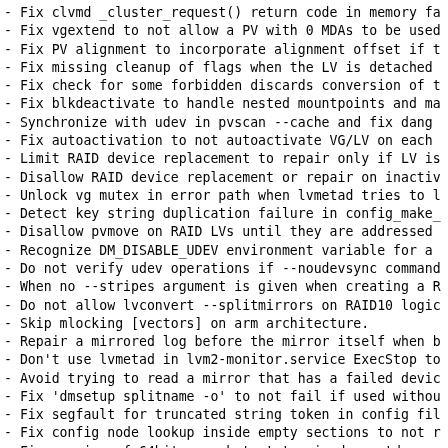- Fix clvmd _cluster_request() return code in memory fa
- Fix vgextend to not allow a PV with 0 MDAs to be used
- Fix PV alignment to incorporate alignment offset if t
- Fix missing cleanup of flags when the LV is detached
- Fix check for some forbidden discards conversion of t
- Fix blkdeactivate to handle nested mountpoints and ma
- Synchronize with udev in pvscan --cache and fix dang
- Fix autoactivation to not autoactivate VG/LV on each
- Limit RAID device replacement to repair only if LV is
- Disallow RAID device replacement or repair on inactiv
- Unlock vg mutex in error path when lvmetad tries to l
- Detect key string duplication failure in config_make_
- Disallow pvmove on RAID LVs until they are addressed
- Recognize DM_DISABLE_UDEV environment variable for a
- Do not verify udev operations if --noudevsync command
- When no --stripes argument is given when creating a R
- Do not allow lvconvert --splitmirrors on RAID10 logic
- Skip mlocking [vectors] on arm architecture.
- Repair a mirrored log before the mirror itself when b
- Don't use lvmetad in lvm2-monitor.service ExecStop to
- Avoid trying to read a mirror that has a failed devic
- Fix 'dmsetup splitname -o' to not fail if used withou
- Fix segfault for truncated string token in config fil
- Fix config node lookup inside empty sections to not r
- Fix parsing of 64bit snapshot status in dmeventd snap
- Always return success on dmeventd -V command call.
- o Fixes (segfaults/crashes/deadlocks/races):
- Fix segfault if devices/global_filter is not specifie
- Fix segfault when reporting raid_syncaction for olden
- Fix vgcfgrestore crash when specified incorrect vg na